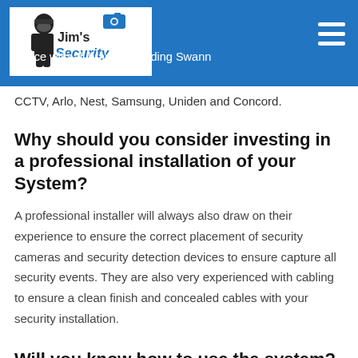Jim's Security — experience with all brands including Swann CCTV, Arlo, Nest, Samsung, Uniden and Concord.
CCTV, Arlo, Nest, Samsung, Uniden and Concord.
Why should you consider investing in a professional installation of your System?
A professional installer will always also draw on their experience to ensure the correct placement of security cameras and security detection devices to ensure capture all security events. They are also very experienced with cabling to ensure a clean finish and concealed cables with your security installation.
Will you know how to use the system?
Security cameras and CCTV systems are complex and...